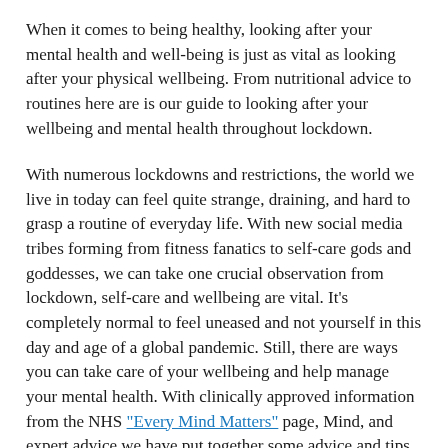When it comes to being healthy, looking after your mental health and well-being is just as vital as looking after your physical wellbeing. From nutritional advice to routines here are is our guide to looking after your wellbeing and mental health throughout lockdown.
With numerous lockdowns and restrictions, the world we live in today can feel quite strange, draining, and hard to grasp a routine of everyday life. With new social media tribes forming from fitness fanatics to self-care gods and goddesses, we can take one crucial observation from lockdown, self-care and wellbeing are vital. It's completely normal to feel uneased and not yourself in this day and age of a global pandemic. Still, there are ways you can take care of your wellbeing and help manage your mental health. With clinically approved information from the NHS "Every Mind Matters" page, Mind, and expert advice we have put together some advice and tips and...